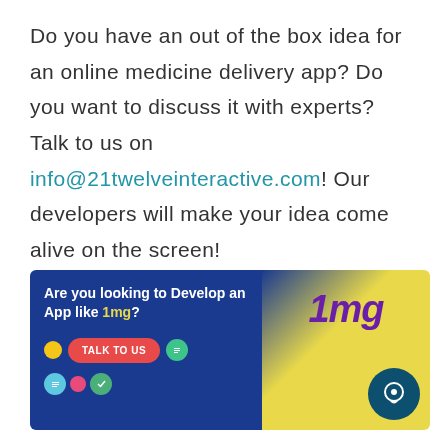Do you have an out of the box idea for an online medicine delivery app? Do you want to discuss it with experts? Talk to us on info@21twelveinteractive.com! Our developers will make your idea come alive on the screen!
[Figure (infographic): Promotional banner with dark blue background on left and yellow gradient on right. Left side has bold white text 'Are you looking to Develop an App like 1mg?' with a red 'TALK TO US' button and decorative icons. Right side shows '1mg' in large purple italic text and a dark teal chat circle icon.]